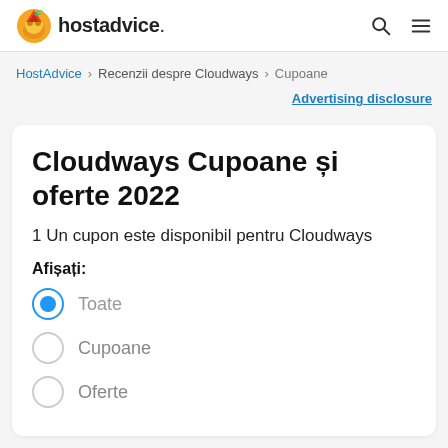hostadvice.
HostAdvice > Recenzii despre Cloudways > Cupoane
Advertising disclosure
Cloudways Cupoane și oferte 2022
1 Un cupon este disponibil pentru Cloudways
Afișați:
Toate
Cupoane
Oferte